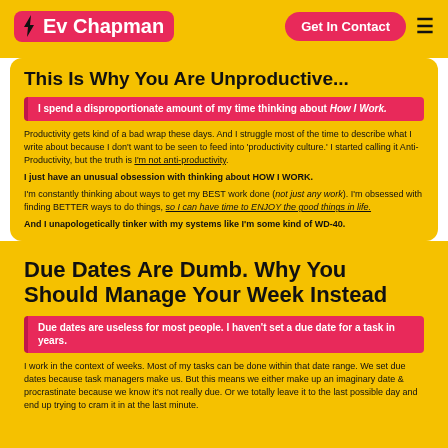Ev Chapman | Get In Contact
This Is Why You Are Unproductive...
I spend a disproportionate amount of my time thinking about How I Work.
Productivity gets kind of a bad wrap these days. And I struggle most of the time to describe what I write about because I don't want to be seen to feed into 'productivity culture.' I started calling it Anti-Productivity, but the truth is I'm not anti-productivity. I just have an unusual obsession with thinking about HOW I WORK. I'm constantly thinking about ways to get my BEST work done (not just any work). I'm obsessed with finding BETTER ways to do things, so I can have time to ENJOY the good things in life. And I unapologetically tinker with my systems like I'm some kind of WD-40.
Due Dates Are Dumb. Why You Should Manage Your Week Instead
Due dates are useless for most people. I haven't set a due date for a task in years.
I work in the context of weeks. Most of my tasks can be done within that date range. We set due dates because task managers make us. But this means we either make up an imaginary date & procrastinate because we know it's not really due. Or we totally leave it to the last possible day and end up trying to cram it in at the last minute.